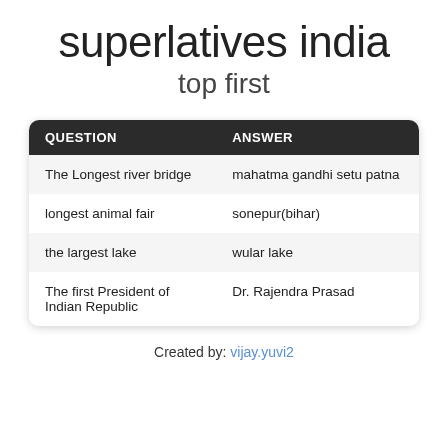superlatives india
top first
| QUESTION | ANSWER |
| --- | --- |
| The Longest river bridge | mahatma gandhi setu patna |
| longest animal fair | sonepur(bihar) |
| the largest lake | wular lake |
| The first President of Indian Republic | Dr. Rajendra Prasad |
Created by: vijay.yuvi2